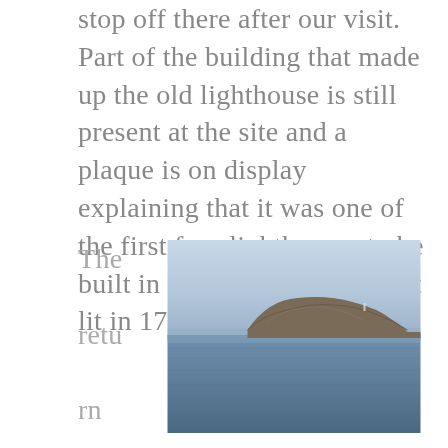stop off there after our visit. Part of the building that made up the old lighthouse is still present at the site and a plaque is on display explaining that it was one of the first four lighthouses to be built in Scotland and was first lit in 1789.
The return journey from the
[Figure (photo): Coastal landscape photograph showing a rocky headland or island with cliffs, seen across a calm blue-grey sea under a hazy light blue sky. A small white lighthouse or structure is faintly visible on the headland.]